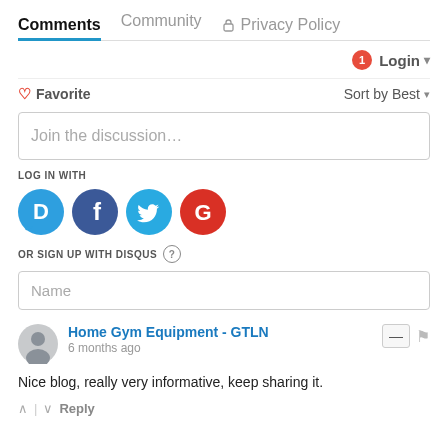Comments | Community | Privacy Policy
Login
♡ Favorite   Sort by Best
Join the discussion...
LOG IN WITH
[Figure (infographic): Social login icons: Disqus (blue speech bubble with D), Facebook (dark blue circle with f), Twitter (light blue circle with bird), Google (red circle with G)]
OR SIGN UP WITH DISQUS ?
Name
Home Gym Equipment - GTLN
6 months ago
Nice blog, really very informative, keep sharing it.
↑ | ↓ Reply